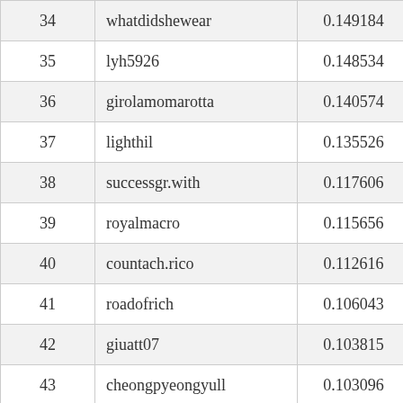| 34 | whatdidshewear | 0.149184 | 0.142 |
| 35 | lyh5926 | 0.148534 | 0.142 |
| 36 | girolamomarotta | 0.140574 | 0.134 |
| 37 | lighthil | 0.135526 | 0.129 |
| 38 | successgr.with | 0.117606 | 0.112 |
| 39 | royalmacro | 0.115656 | 0.110 |
| 40 | countach.rico | 0.112616 | 0.107 |
| 41 | roadofrich | 0.106043 | 0.101 |
| 42 | giuatt07 | 0.103815 | 0.099 |
| 43 | cheongpyeongyull | 0.103096 | 0.098 |
| 44 | art.venture | 0.101101 | 0.096 |